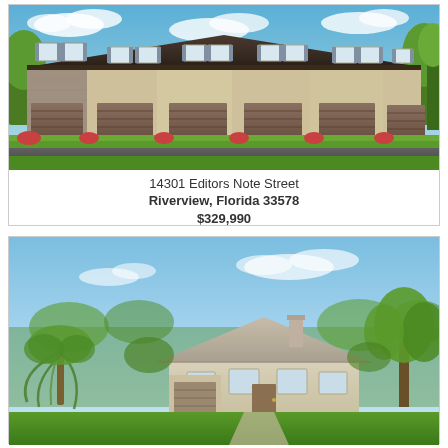[Figure (photo): Exterior rendering of a row of two-story townhomes with brown garage doors, beige/tan stucco facade, dark shingle roof, and landscaping in front. Driveway and road visible in foreground.]
14301 Editors Note Street
Riverview, Florida 33578
$329,990
[Figure (photo): Exterior rendering of a single-family home with light-colored roof, surrounded by trees including a weeping willow on the left and trees on the right, with blue sky background and green lawn.]